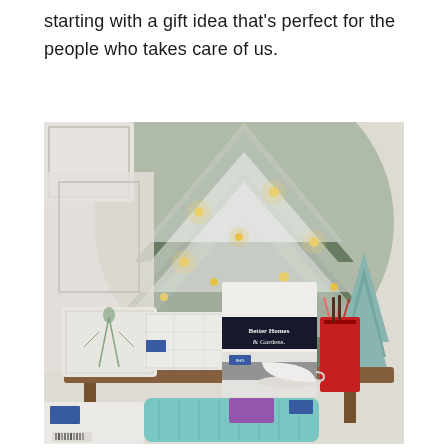starting with a gift idea that's perfect for the people who takes care of us.
[Figure (photo): A styled Christmas scene with a snow-flocked tree decorated with warm lights, pinecones, and white ornaments. In the foreground sits a wooden bench/table with Better Homes & Gardens branded bedding products (white quilts, packaged sheets), decorative pillows with botanical prints, a white teacup and saucer, a light teal cable-knit throw blanket, and a small glass bottle of hot cocoa mix alongside red holiday gift bag tissue paper. A mint green ceramic Christmas tree decoration is on the right.]